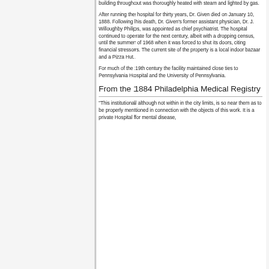building throughout was thoroughly heated with steam and lighted by gas.
After running the hospital for thirty years, Dr. Given died on January 10, 1888. Following his death, Dr. Given's former assistant physician, Dr. J. Willoughby Philips, was appointed as chief psychiatrist. The hospital continued to operate for the next century, albeit with a dropping census, until the summer of 1968 when it was forced to shut its doors, citing financial stressors. The current site of the property is a local indoor bazaar and a Pizza Hut.
For much of the 19th century the facility maintained close ties to Pennsylvania Hospital and the University of Pennsylvania.
From the 1884 Philadelphia Medical Registry
"This institutional although not within in the city limits, is so near them as to be properly mentioned in connection with the objects of this work. It is a private Hospital for mental disease,